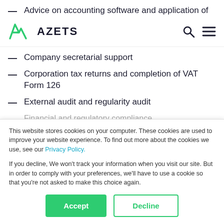Advice on accounting software and application of
AZETS
Company secretarial support
Corporation tax returns and completion of VAT Form 126
External audit and regularity audit
Financial and regulatory compliance
This website stores cookies on your computer. These cookies are used to improve your website experience. To find out more about the cookies we use, see our Privacy Policy.

If you decline, We won't track your information when you visit our site. But in order to comply with your preferences, we'll have to use a cookie so that you're not asked to make this choice again.